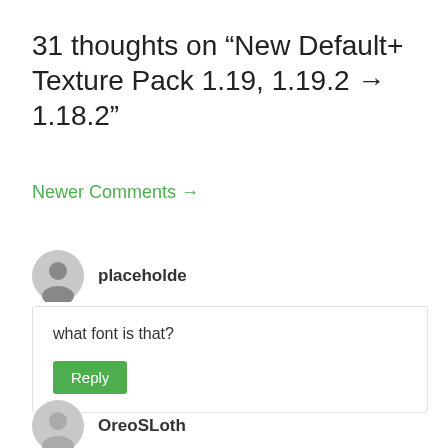31 thoughts on “New Default+ Texture Pack 1.19, 1.19.2 → 1.18.2”
Newer Comments →
placeholde
what font is that?
Reply
OreoSLoth